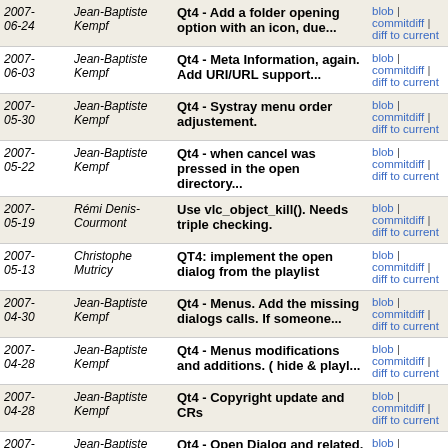| Date | Author | Commit Message | Links |
| --- | --- | --- | --- |
| 2007-06-24 | Jean-Baptiste Kempf | Qt4 - Add a folder opening option with an icon, due... | blob | commitdiff | diff to current |
| 2007-06-03 | Jean-Baptiste Kempf | Qt4 - Meta Information, again. Add URI/URL support... | blob | commitdiff | diff to current |
| 2007-05-30 | Jean-Baptiste Kempf | Qt4 - Systray menu order adjustement. | blob | commitdiff | diff to current |
| 2007-05-22 | Jean-Baptiste Kempf | Qt4 - when cancel was pressed in the open directory... | blob | commitdiff | diff to current |
| 2007-05-19 | Rémi Denis-Courmont | Use vlc_object_kill(). Needs triple checking. | blob | commitdiff | diff to current |
| 2007-05-13 | Christophe Mutricy | QT4: implement the open dialog from the playlist | blob | commitdiff | diff to current |
| 2007-04-30 | Jean-Baptiste Kempf | Qt4 - Menus. Add the missing dialogs calls. If someone... | blob | commitdiff | diff to current |
| 2007-04-28 | Jean-Baptiste Kempf | Qt4 - Menus modifications and additions. ( hide & playl... | blob | commitdiff | diff to current |
| 2007-04-28 | Jean-Baptiste Kempf | Qt4 - Copyright update and CRs | blob | commitdiff | diff to current |
| 2007-04-28 | Jean-Baptiste Kempf | Qt4 - Open Dialog and related. Change on the actions... | blob | commitdiff | diff to current |